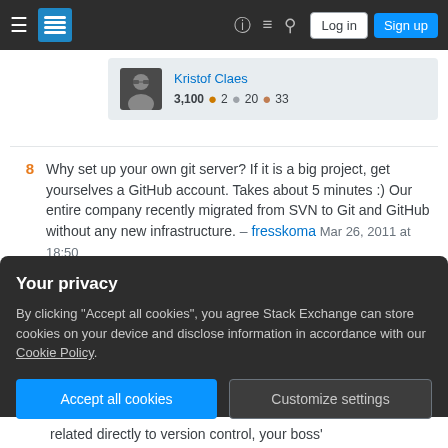Stack Exchange navigation bar with hamburger menu, logo, help, chat, search icons, Log in and Sign up buttons
[Figure (screenshot): User profile card for Kristof Claes showing avatar, reputation 3,100 with badges: 2 gold, 20 silver, 33 bronze]
8  Why set up your own git server? If it is a big project, get yourselves a GitHub account. Takes about 5 minutes :) Our entire company recently migrated from SVN to Git and GitHub without any new infrastructure. – fresskoma Mar 26, 2011 at 18:50
34  IMO, doing a big (or midsize, or even small-ish) project without source control is madness in today's world. I'd actually go so far to call it unprofessional (if you're
Your privacy
By clicking "Accept all cookies", you agree Stack Exchange can store cookies on your device and disclose information in accordance with our Cookie Policy.
Accept all cookies   Customize settings
related directly to version control, your boss'